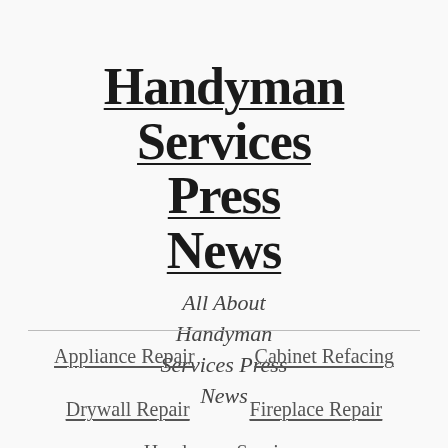Handyman Services Press News
All About Handyman Services Press News
Appliance Repair
Cabinet Refacing
Drywall Repair
Fireplace Repair
Handyman Services